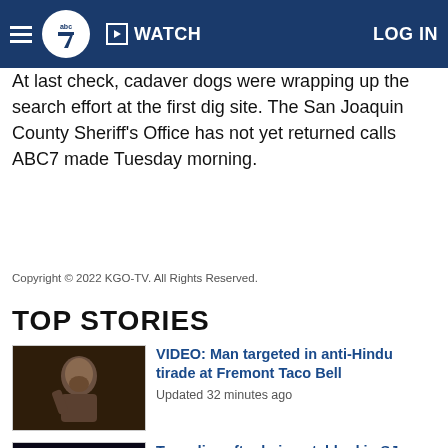ABC7 WATCH LOG IN
At last check, cadaver dogs were wrapping up the search effort at the first dig site. The San Joaquin County Sheriff's Office has not yet returned calls ABC7 made Tuesday morning.
Copyright © 2022 KGO-TV. All Rights Reserved.
TOP STORIES
VIDEO: Man targeted in anti-Hindu tirade at Fremont Taco Bell
Updated 32 minutes ago
Teen dies after being stabbed in SJ overnight, police say
Updated 2 hours ago